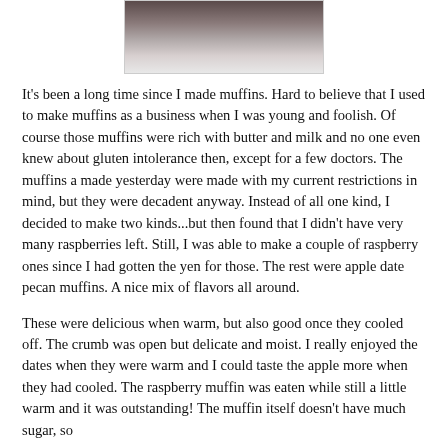[Figure (photo): Partial photo of muffins or baked goods, cropped at top]
It's been a long time since I made muffins. Hard to believe that I used to make muffins as a business when I was young and foolish. Of course those muffins were rich with butter and milk and no one even knew about gluten intolerance then, except for a few doctors. The muffins a made yesterday were made with my current restrictions in mind, but they were decadent anyway. Instead of all one kind, I decided to make two kinds...but then found that I didn't have very many raspberries left. Still, I was able to make a couple of raspberry ones since I had gotten the yen for those. The rest were apple date pecan muffins. A nice mix of flavors all around.
These were delicious when warm, but also good once they cooled off. The crumb was open but delicate and moist. I really enjoyed the dates when they were warm and I could taste the apple more when they had cooled. The raspberry muffin was eaten while still a little warm and it was outstanding! The muffin itself doesn't have much sugar, so